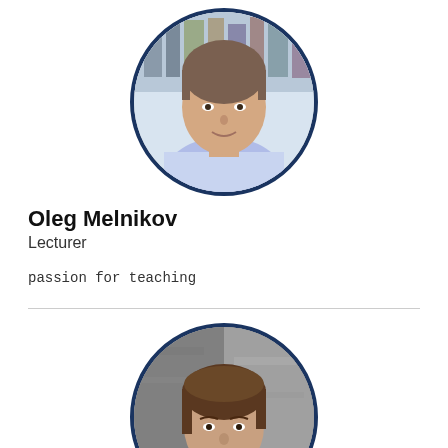[Figure (photo): Circular portrait photo of Oleg Melnikov with dark blue border, showing a man with short hair wearing a light blue shirt]
Oleg Melnikov
Lecturer
passion for teaching
[Figure (photo): Circular portrait photo with dark blue border showing a man with brown hair smiling slightly, photographed against a stone/grey background]